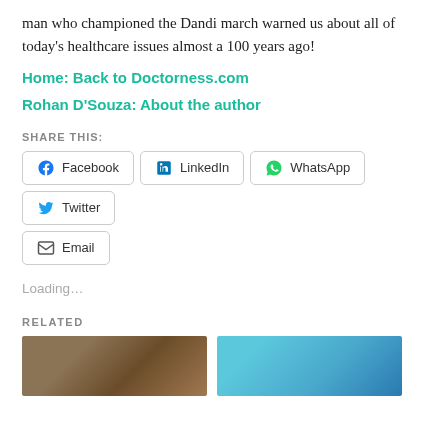man who championed the Dandi march warned us about all of today's healthcare issues almost a 100 years ago!
Home: Back to Doctorness.com
Rohan D'Souza: About the author
SHARE THIS:
Facebook
LinkedIn
WhatsApp
Twitter
Email
Loading...
RELATED
[Figure (photo): Related article thumbnail - portrait photo (brownish tones)]
[Figure (photo): Related article thumbnail - photo with blue/teal background]